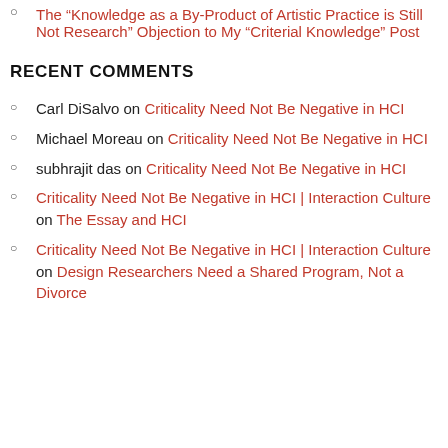The “Knowledge as a By-Product of Artistic Practice is Still Not Research” Objection to My “Criterial Knowledge” Post
RECENT COMMENTS
Carl DiSalvo on Criticality Need Not Be Negative in HCI
Michael Moreau on Criticality Need Not Be Negative in HCI
subhrajit das on Criticality Need Not Be Negative in HCI
Criticality Need Not Be Negative in HCI | Interaction Culture on The Essay and HCI
Criticality Need Not Be Negative in HCI | Interaction Culture on Design Researchers Need a Shared Program, Not a Divorce